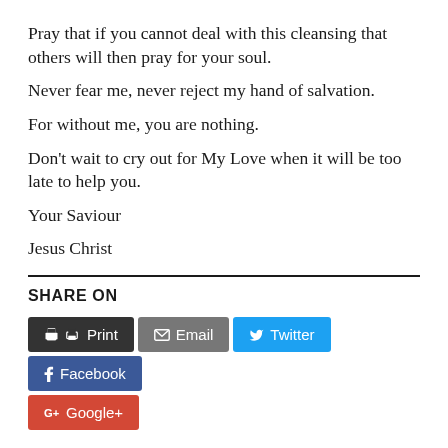Pray that if you cannot deal with this cleansing that others will then pray for your soul.
Never fear me, never reject my hand of salvation.
For without me, you are nothing.
Don’t wait to cry out for My Love when it will be too late to help you.
Your Saviour
Jesus Christ
SHARE ON
Print | Email | Twitter | Facebook | Google+